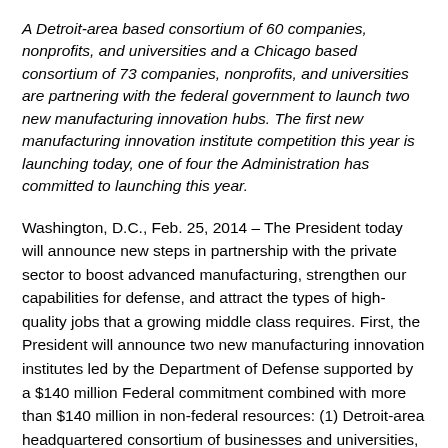A Detroit-area based consortium of 60 companies, nonprofits, and universities and a Chicago based consortium of 73 companies, nonprofits, and universities are partnering with the federal government to launch two new manufacturing innovation hubs. The first new manufacturing innovation institute competition this year is launching today, one of four the Administration has committed to launching this year.
Washington, D.C., Feb. 25, 2014 – The President today will announce new steps in partnership with the private sector to boost advanced manufacturing, strengthen our capabilities for defense, and attract the types of high-quality jobs that a growing middle class requires. First, the President will announce two new manufacturing innovation institutes led by the Department of Defense supported by a $140 million Federal commitment combined with more than $140 million in non-federal resources: (1) Detroit-area headquartered consortium of businesses and universities,